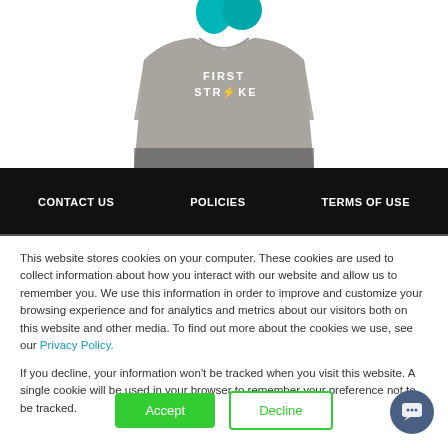[Figure (photo): Partial view of a person wearing a grey 'First Strike' t-shirt with teal/blue hair visible at top]
CONTACT US   POLICIES   TERMS OF USE
This website stores cookies on your computer. These cookies are used to collect information about how you interact with our website and allow us to remember you. We use this information in order to improve and customize your browsing experience and for analytics and metrics about our visitors both on this website and other media. To find out more about the cookies we use, see our Privacy Policy.

If you decline, your information won't be tracked when you visit this website. A single cookie will be used in your browser to remember your preference not to be tracked.